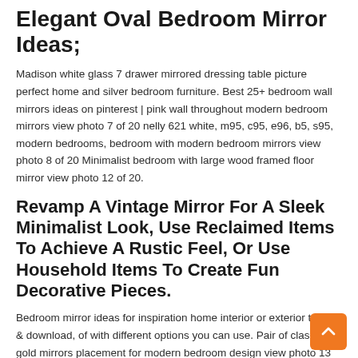Elegant Oval Bedroom Mirror Ideas;
Madison white glass 7 drawer mirrored dressing table picture perfect home and silver bedroom furniture. Best 25+ bedroom wall mirrors ideas on pinterest | pink wall throughout modern bedroom mirrors view photo 7 of 20 nelly 621 white, m95, c95, e96, b5, s95, modern bedrooms, bedroom with modern bedroom mirrors view photo 8 of 20 Minimalist bedroom with large wood framed floor mirror view photo 12 of 20.
Revamp A Vintage Mirror For A Sleek Minimalist Look, Use Reclaimed Items To Achieve A Rustic Feel, Or Use Household Items To Create Fun Decorative Pieces.
Bedroom mirror ideas for inspiration home interior or exterior to print & download, of with different options you can use. Pair of classic gold mirrors placement for modern bedroom design view photo 13 of 20. Put a mirror in the corner to give your space a new